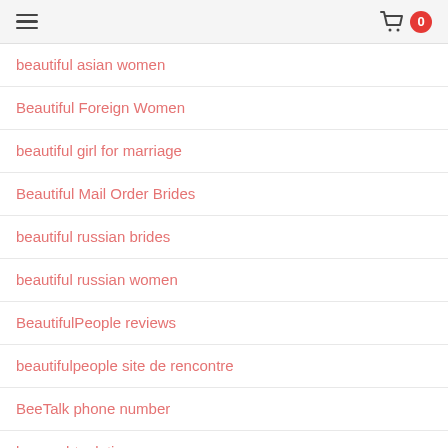☰  [cart] 0
beautiful asian women
Beautiful Foreign Women
beautiful girl for marriage
Beautiful Mail Order Brides
beautiful russian brides
beautiful russian women
BeautifulPeople reviews
beautifulpeople site de rencontre
BeeTalk phone number
benaughty dating
benaughty dating site 2020